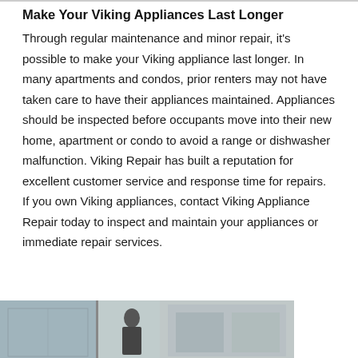Make Your Viking Appliances Last Longer
Through regular maintenance and minor repair, it's possible to make your Viking appliance last longer. In many apartments and condos, prior renters may not have taken care to have their appliances maintained. Appliances should be inspected before occupants move into their new home, apartment or condo to avoid a range or dishwasher malfunction. Viking Repair has built a reputation for excellent customer service and response time for repairs. If you own Viking appliances, contact Viking Appliance Repair today to inspect and maintain your appliances or immediate repair services.
[Figure (photo): Partial photos of appliances or service scenes at bottom of page]